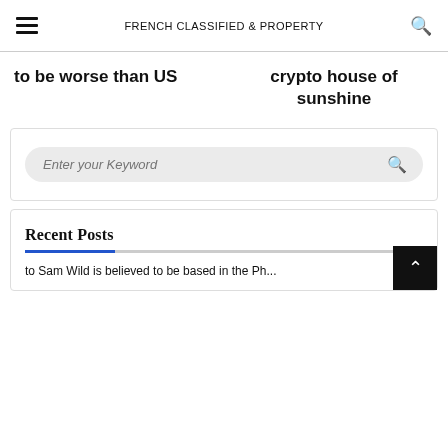FRENCH CLASSIFIED & PROPERTY
to be worse than US
crypto house of sunshine
Enter your Keyword
Recent Posts
Sam Wild is believed to be based in the Ph...